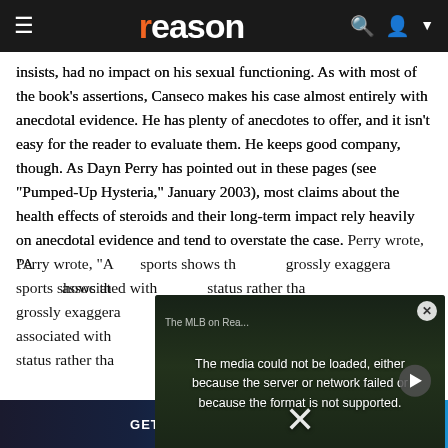reason
insists, had no impact on his sexual functioning. As with most of the book's assertions, Canseco makes his case almost entirely with anecdotal evidence. He has plenty of anecdotes to offer, and it isn't easy for the reader to evaluate them. He keeps good company, though. As Dayn Perry has pointed out in these pages (see "Pumped-Up Hysteria," January 2003), most claims about the health effects of steroids and their long-term impact rely heavily on anecdotal evidence and tend to overstate the case. Perry wrote, "A review of the medical literature on sports shows that the effects of steroids have been grossly exaggerated...many of the health risks associated with...status rather tha
[Figure (screenshot): Embedded video player overlay showing error message: 'The media could not be loaded, either because the server or network failed or because the format is not supported.' with a play button icon and X close button, overlaid on a dark golf swing video thumbnail.]